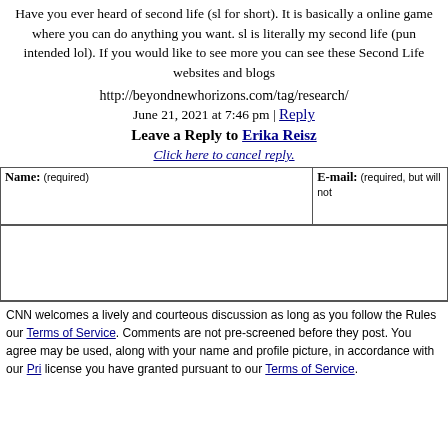Have you ever heard of second life (sl for short). It is basically a online game where you can do anything you want. sl is literally my second life (pun intended lol). If you would like to see more you can see these Second Life websites and blogs
http://beyondnewhorizons.com/tag/research/
June 21, 2021 at 7:46 pm | Reply
Leave a Reply to Erika Reisz
Click here to cancel reply.
| Name: (required) | E-mail: (required, but will not...) |
| --- | --- |
|  |  |
CNN welcomes a lively and courteous discussion as long as you follow the Rules our Terms of Service. Comments are not pre-screened before they post. You agree may be used, along with your name and profile picture, in accordance with our Pri license you have granted pursuant to our Terms of Service.